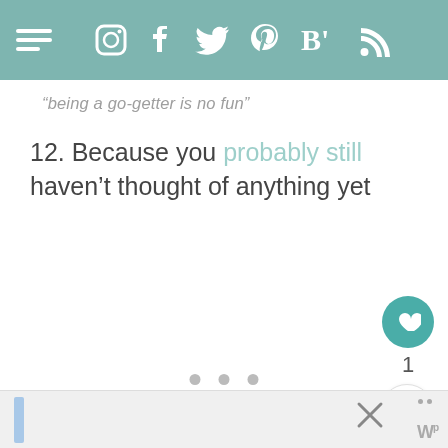Navigation bar with hamburger menu and social icons: Instagram, Facebook, Twitter, Pinterest, Bloglovin, RSS
“being a go-getter is no fun”
12. Because you probably still haven’t thought of anything yet
[Figure (screenshot): Three pagination dots and floating action buttons: heart/like button (teal), count 1, share button]
[Figure (screenshot): Bottom bar with blue sidebar, close X icon, and Massren logo watermark]